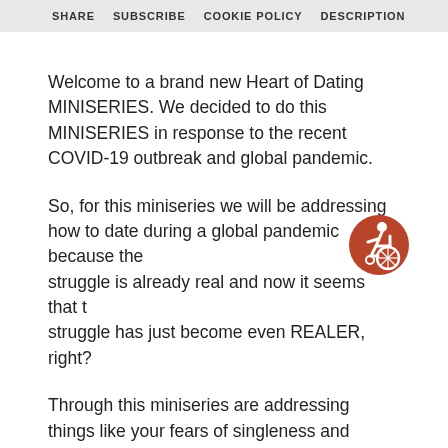SHARE  SUBSCRIBE  COOKIE POLICY  DESCRIPTION
Welcome to a brand new Heart of Dating MINISERIES. We decided to do this MINISERIES in response to the recent COVID-19 outbreak and global pandemic.
So, for this miniseries we will be addressing how to date during a global pandemic because the struggle is already real and now it seems that the struggle has just become even REALER, right?
[Figure (illustration): Circular accessibility icon with a red/brown border and a stylized person figure in white on a red/brown background]
Through this miniseries are addressing things like your fears of singleness and isolation, how to drop the hanky virtually and give yourself an online dating reset ( even how to talk to people through DM’s) as well as ways to still be intentional and creative your dating life even if you cannot see the other person as much.